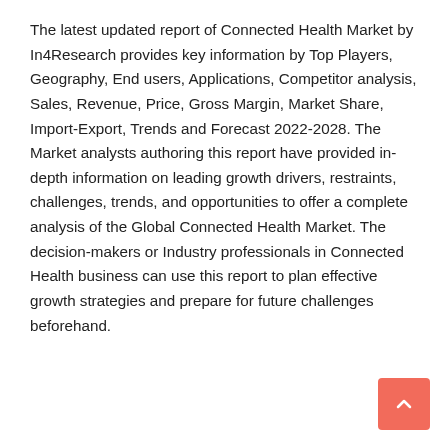The latest updated report of Connected Health Market by In4Research provides key information by Top Players, Geography, End users, Applications, Competitor analysis, Sales, Revenue, Price, Gross Margin, Market Share, Import-Export, Trends and Forecast 2022-2028. The Market analysts authoring this report have provided in-depth information on leading growth drivers, restraints, challenges, trends, and opportunities to offer a complete analysis of the Global Connected Health Market. The decision-makers or Industry professionals in Connected Health business can use this report to plan effective growth strategies and prepare for future challenges beforehand.